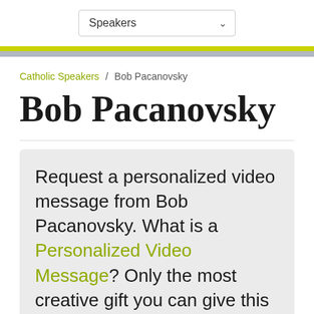[Figure (screenshot): Dropdown selector UI element labeled 'Speakers' with a chevron/arrow on the right side]
Catholic Speakers / Bob Pacanovsky
Bob Pacanovsky
Request a personalized video message from Bob Pacanovsky. What is a Personalized Video Message? Only the most creative gift you can give this year!